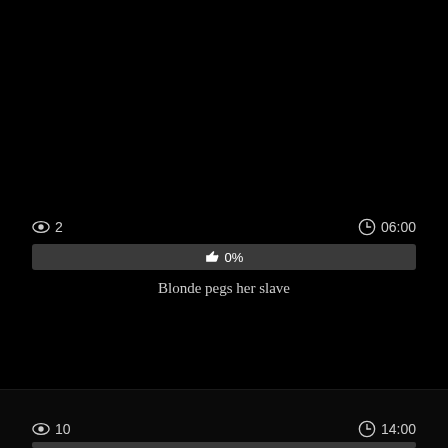👁 2  🕐06:00
👍 0%
Blonde pegs her slave
👁 10  🕐14:00